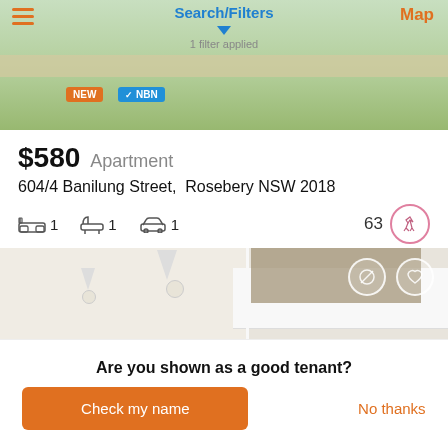[Figure (screenshot): Map view header with Search/Filters title, hamburger menu, Map button, NEW and NBN badges, and 1 filter applied indicator]
$580  Apartment
604/4 Banilung Street,  Rosebery NSW 2018
1 bed  1 bath  1 car  63 walkability score
[Figure (photo): Interior photo of apartment showing open kitchen with white cabinets, blue tile backsplash, pendant lighting, and open-plan living area split into two panels]
Are you shown as a good tenant?
Check my name
No thanks